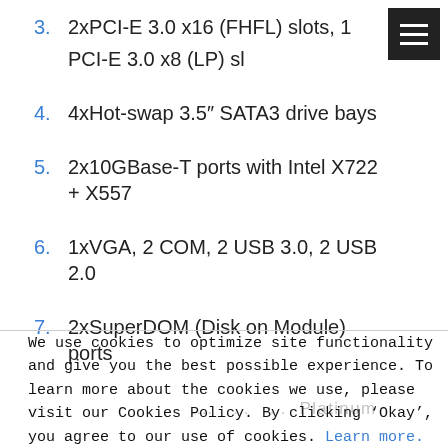3.	2xPCI-E 3.0 x16 (FHFL) slots, 1 PCI-E 3.0 x8 (LP) sl…
4.	4xHot-swap 3.5″ SATA3 drive bays
5.	2x10GBase-T ports with Intel X722 + X557
6.	1xVGA, 2 COM, 2 USB 3.0, 2 USB 2.0
7.	2xSuperDOM (Disk on Module) ports
–	[truncated/obscured text]
We use cookies to optimize site functionality and give you the best possible experience. To learn more about the cookies we use, please visit our Cookies Policy. By clicking ‘Okay’, you agree to our use of cookies. Learn more.
Ok